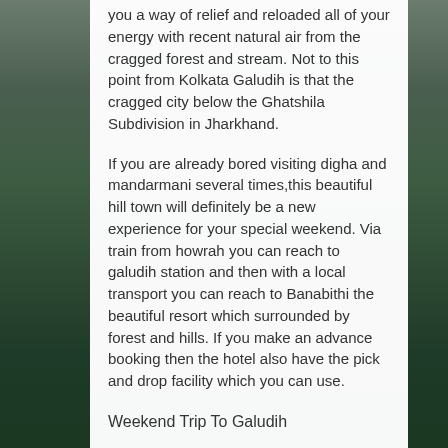you a way of relief and reloaded all of your energy with recent natural air from the cragged forest and stream. Not to this point from Kolkata Galudih is that the cragged city below the Ghatshila Subdivision in Jharkhand.
If you are already bored visiting digha and mandarmani several times,this beautiful hill town will definitely be a new experience for your special weekend. Via train from howrah you can reach to galudih station and then with a local transport you can reach to Banabithi the beautiful resort which surrounded by forest and hills. If you make an advance booking then the hotel also have the pick and drop facility which you can use.
Weekend Trip To Galudih
The natural beauty of this place is unmatched; you